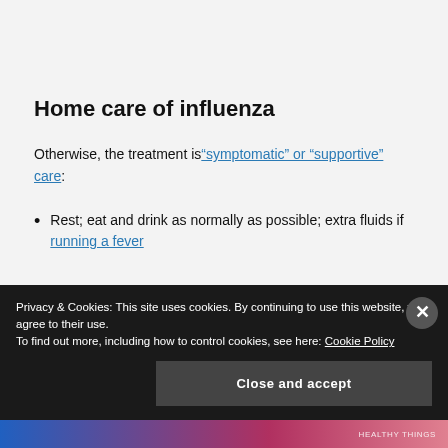Home care of influenza
Otherwise, the treatment is “symptomatic” or “supportive” care:
Rest; eat and drink as normally as possible; extra fluids if running a fever
Privacy & Cookies: This site uses cookies. By continuing to use this website, you agree to their use.
To find out more, including how to control cookies, see here: Cookie Policy
HEALTHY THINGS